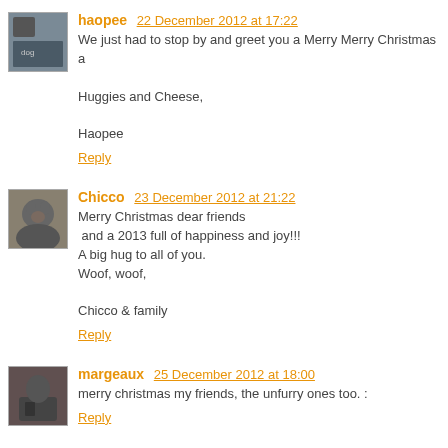haopee  22 December 2012 at 17:22
We just had to stop by and greet you a Merry Merry Christmas a

Huggies and Cheese,

Haopee

Reply
Chicco  23 December 2012 at 21:22
Merry Christmas dear friends
 and a 2013 full of happiness and joy!!!
A big hug to all of you.
Woof, woof,

Chicco & family

Reply
margeaux  25 December 2012 at 18:00
merry christmas my friends, the unfurry ones too. :

Reply